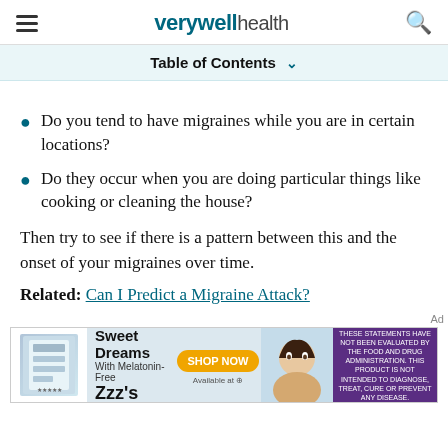verywell health
Table of Contents
Do you tend to have migraines while you are in certain locations?
Do they occur when you are doing particular things like cooking or cleaning the house?
Then try to see if there is a pattern between this and the onset of your migraines over time.
Related: Can I Predict a Migraine Attack?
[Figure (other): Advertisement banner for Sweet Dreams With Melatonin-Free Zzz's supplement product with Shop Now button]